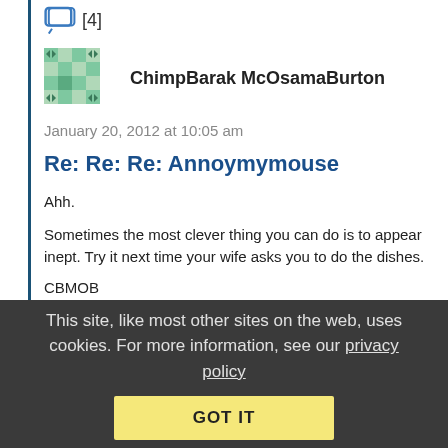[Figure (other): Comment icon with count [4]]
[Figure (other): User avatar: ChimpBarak McOsamaBurton — green pixel/geometric pattern avatar]
ChimpBarak McOsamaBurton
January 20, 2012 at 10:05 am
Re: Re: Re: Annoymymouse
Ahh.
Sometimes the most clever thing you can do is to appear inept. Try it next time your wife asks you to do the dishes.
CBMOB
This site, like most other sites on the web, uses cookies. For more information, see our privacy policy
GOT IT